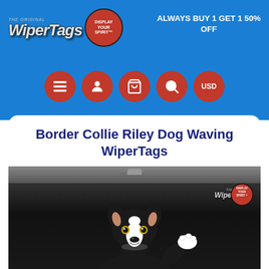[Figure (logo): WiperTags logo with 'The Original' text above and 'Display Your Spirit' badge circle on the right]
ALWAYS BUY 1 GET 1 50% OFF
[Figure (infographic): Navigation icons row: hamburger menu, user profile, shopping cart, search, and USD currency selector — all red circles with white icons]
Border Collie Riley Dog Waving WiperTags
[Figure (photo): Product photo showing a Border Collie dog character (Riley) waving, attached to a car rear wiper, on a dark car rear window background. WiperTags branding logo visible in upper right of image.]